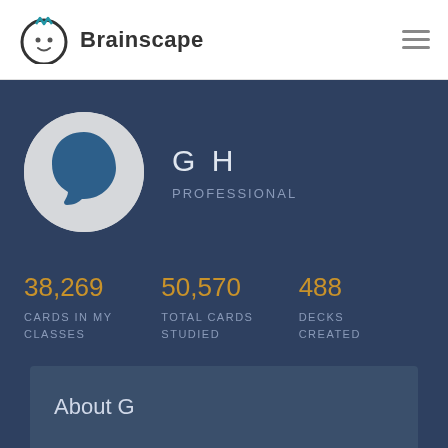[Figure (logo): Brainscape logo with brain icon]
Brainscape
G H
PROFESSIONAL
38,269
CARDS IN MY CLASSES
50,570
TOTAL CARDS STUDIED
488
DECKS CREATED
About G